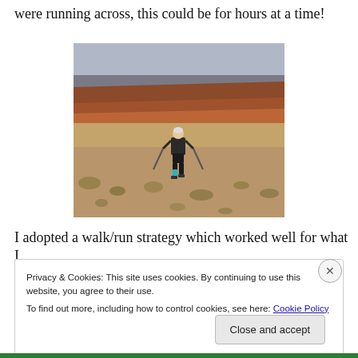were running across, this could be for hours at a time!
[Figure (photo): A lone runner with trekking poles and a backpack running across a vast desert landscape with red rock mesas in the background and sparse scrubby vegetation in the foreground.]
I adopted a walk/run strategy which worked well for what I
Privacy & Cookies: This site uses cookies. By continuing to use this website, you agree to their use.
To find out more, including how to control cookies, see here: Cookie Policy
Close and accept